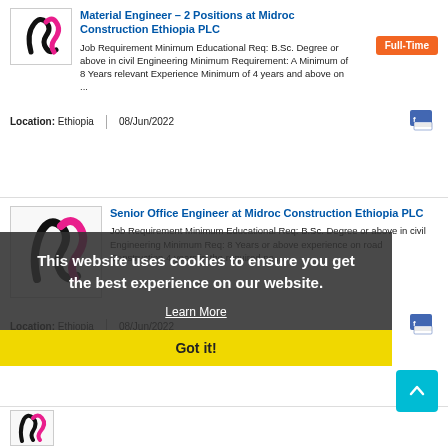[Figure (logo): Midroc Construction Ethiopia PLC logo - black and pink swoosh/M mark]
Material Engineer – 2 Positions at Midroc Construction Ethiopia PLC
Job Requirement Minimum Educational Req:  B.Sc. Degree or above in civil Engineering Minimum Requirement: A Minimum of 8 Years relevant Experience Minimum of 4 years and above on ...
Full-Time
Location: Ethiopia
08/Jun/2022
[Figure (logo): Midroc Construction Ethiopia PLC logo - black and pink swoosh/M mark, larger]
Senior Office Engineer at Midroc Construction Ethiopia PLC
Job Requirement Minimum Educational Req: B.Sc. Degree or above in civil Engineering Minimum Req: 8 Years or above experience on road Construction 4 years in the required po ...
Full-Time
Location: Ethiopia
08/Jun/2022
This website uses cookies to ensure you get the best experience on our website.
Learn More
Got it!
[Figure (logo): Midroc Construction Ethiopia PLC logo - partial, black and pink]